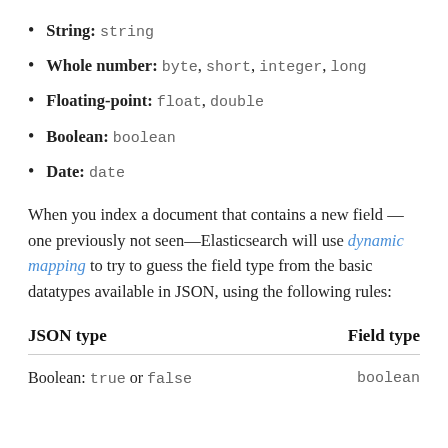String: string
Whole number: byte, short, integer, long
Floating-point: float, double
Boolean: boolean
Date: date
When you index a document that contains a new field—one previously not seen—Elasticsearch will use dynamic mapping to try to guess the field type from the basic datatypes available in JSON, using the following rules:
| JSON type | Field type |
| --- | --- |
| Boolean: true or false | boolean |